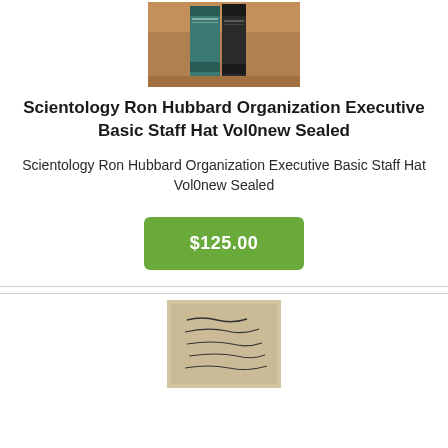[Figure (photo): Two books with teal/green spines standing upright on a wooden surface]
Scientology Ron Hubbard Organization Executive Basic Staff Hat Vol0new Sealed
Scientology Ron Hubbard Organization Executive Basic Staff Hat Vol0new Sealed
$125.00
[Figure (photo): Handwritten document or letter with cursive text on aged paper]